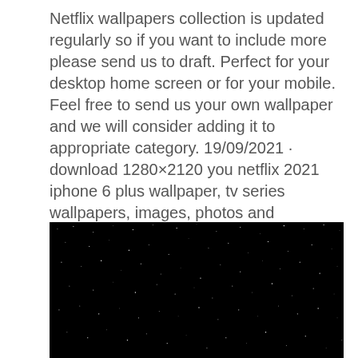Netflix wallpapers collection is updated regularly so if you want to include more please send us to draft. Perfect for your desktop home screen or for your mobile. Feel free to send us your own wallpaper and we will consider adding it to appropriate category. 19/09/2021 · download 1280×2120 you netflix 2021 iphone 6 plus wallpaper, tv series wallpapers, images, photos and background for desktop windows 10 macos, apple iphone and android mobile in hd and 4k Tons of awesome netflix wallpapers to download for free.
[Figure (photo): A dark/black image resembling a night sky with scattered small white star-like dots on a black background.]